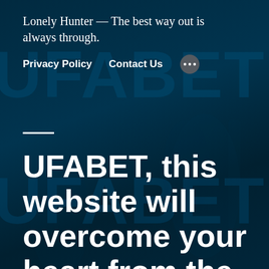Lonely Hunter — The best way out is always through.
Privacy Policy   Contact Us   •••
UFABET, this website will overcome your heart from the initial moment